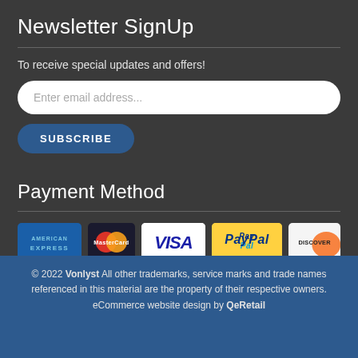Newsletter SignUp
To receive special updates and offers!
[Figure (screenshot): Email input field with placeholder 'Enter email address...']
[Figure (screenshot): Subscribe button]
Payment Method
[Figure (infographic): Payment method logos: American Express, MasterCard, Visa, PayPal, Discover]
© 2022 Vonlyst All other trademarks, service marks and trade names referenced in this material are the property of their respective owners. eCommerce website design by QeRetail